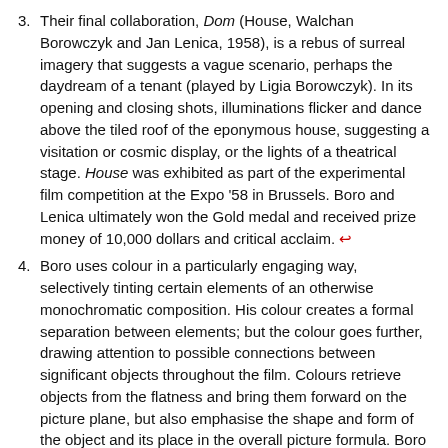Their final collaboration, Dom (House, Walchan Borowczyk and Jan Lenica, 1958), is a rebus of surreal imagery that suggests a vague scenario, perhaps the daydream of a tenant (played by Ligia Borowczyk). In its opening and closing shots, illuminations flicker and dance above the tiled roof of the eponymous house, suggesting a visitation or cosmic display, or the lights of a theatrical stage. House was exhibited as part of the experimental film competition at the Expo '58 in Brussels. Boro and Lenica ultimately won the Gold medal and received prize money of 10,000 dollars and critical acclaim. ↵
Boro uses colour in a particularly engaging way, selectively tinting certain elements of an otherwise monochromatic composition. His colour creates a formal separation between elements; but the colour goes further, drawing attention to possible connections between significant objects throughout the film. Colours retrieve objects from the flatness and bring them forward on the picture plane, but also emphasise the shape and form of the object and its place in the overall picture formula. Boro concentrates his talents as a renowned graphic designer to create animated imagery that works spatially as well as temporally.